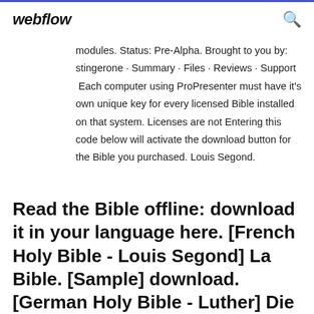webflow
modules. Status: Pre-Alpha. Brought to you by: stingerone · Summary · Files · Reviews · Support  Each computer using ProPresenter must have it's own unique key for every licensed Bible installed on that system. Licenses are not Entering this code below will activate the download button for the Bible you purchased. Louis Segond.
Read the Bible offline: download it in your language here. [French Holy Bible - Louis Segond] La Bible. [Sample] download. [German Holy Bible - Luther] Die